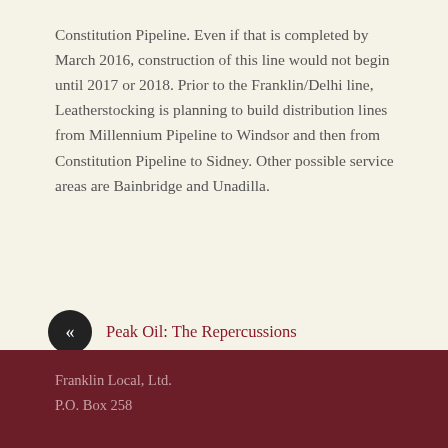Constitution Pipeline. Even if that is completed by March 2016, construction of this line would not begin until 2017 or 2018. Prior to the Franklin/Delhi line, Leatherstocking is planning to build distribution lines from Millennium Pipeline to Windsor and then from Constitution Pipeline to Sidney. Other possible service areas are Bainbridge and Unadilla.
« Peak Oil: The Repercussions
Setback for Local Green Energy »
Franklin Local, Ltd.
P.O. Box 258